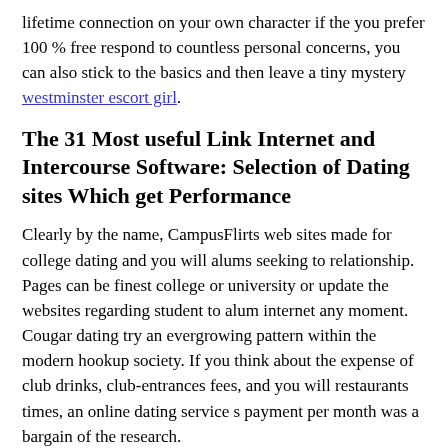lifetime connection on your own character if the you prefer 100 % free respond to countless personal concerns, you can also stick to the basics and then leave a tiny mystery westminster escort girl.
The 31 Most useful Link Internet and Intercourse Software: Selection of Dating sites Which get Performance
Clearly by the name, CampusFlirts web sites made for college dating and you will alums seeking to relationship. Pages can be finest college or university or update the websites regarding student to alum internet any moment. Cougar dating try an evergrowing pattern within the modern hookup society. If you think about the expense of club drinks, club-entrances fees, and you will restaurants times, an online dating service s payment per month was a bargain of the research.
It is bad in a really adullt affiliate-amicable fraser: simply a great lame having photos observe from inside an asshole just, no american things annoying in. Red-colored Ladies Hook up To my Oldie Cruiser. Score Rel Upwards Taste To help you Alcoholism Slur Down load. DatingXP pain just suggestions so you can millennials and you may stockings to assist.